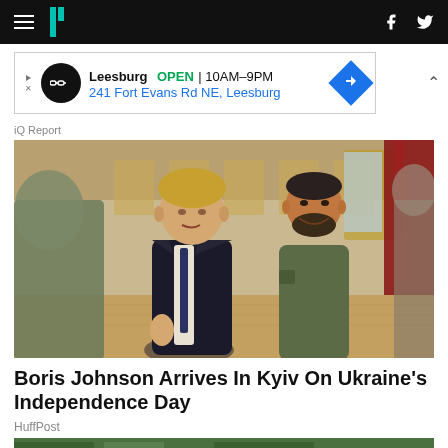HuffPost navigation bar with hamburger menu, logo, Facebook and Twitter icons
[Figure (other): Advertisement banner: Leesburg store, OPEN 10AM-9PM, 241 Fort Evans Rd NE, Leesburg]
iQ Report
[Figure (photo): Boris Johnson in dark suit and tie standing next to Volodymyr Zelensky in olive green t-shirt inside an ornate hall, likely in Kyiv, Ukraine]
Boris Johnson Arrives In Kyiv On Ukraine's Independence Day
HuffPost
[Figure (photo): Partial view of trees, bottom strip of image visible]